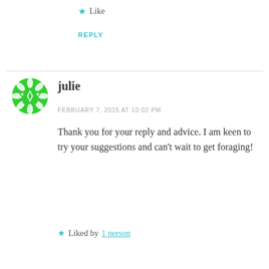★ Like
REPLY
julie
FEBRUARY 7, 2015 AT 10:02 PM
Thank you for your reply and advice. I am keen to try your suggestions and can't wait to get foraging!
★ Liked by 1 person